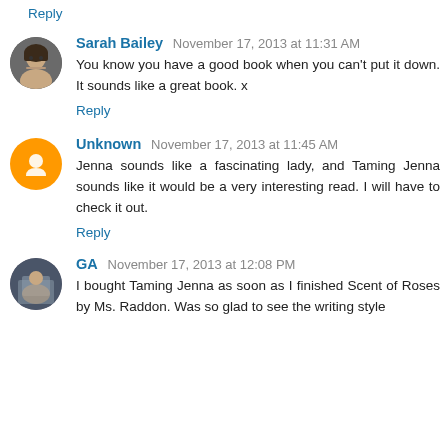Reply
Sarah Bailey  November 17, 2013 at 11:31 AM
You know you have a good book when you can't put it down. It sounds like a great book. x
Reply
Unknown  November 17, 2013 at 11:45 AM
Jenna sounds like a fascinating lady, and Taming Jenna sounds like it would be a very interesting read. I will have to check it out.
Reply
GA  November 17, 2013 at 12:08 PM
I bought Taming Jenna as soon as I finished Scent of Roses by Ms. Raddon. Was so glad to see the writing style